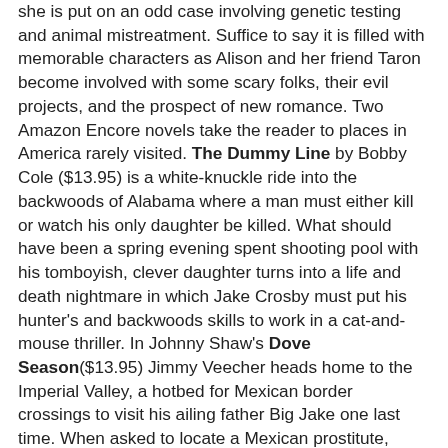she is put on an odd case involving genetic testing and animal mistreatment. Suffice to say it is filled with memorable characters as Alison and her friend Taron become involved with some scary folks, their evil projects, and the prospect of new romance. Two Amazon Encore novels take the reader to places in America rarely visited. The Dummy Line by Bobby Cole ($13.95) is a white-knuckle ride into the backwoods of Alabama where a man must either kill or watch his only daughter be killed. What should have been a spring evening spent shooting pool with his tomboyish, clever daughter turns into a life and death nightmare in which Jake Crosby must put his hunter's and backwoods skills to work in a cat-and-mouse thriller. In Johnny Shaw's Dove Season($13.95) Jimmy Veecher heads home to the Imperial Valley, a hotbed for Mexican border crossings to visit his ailing father Big Jake one last time. When asked to locate a Mexican prostitute, Yolanda, he is joined by his friend Bobby Maves, to fulfill his father's request to bring her to him. Mission performed, he wakes up days later with a huge hangover to discover that Yolanda's body has been found floating at the bottom of a cistern. It gets very busy for Jimmy after that and I will not spoil the fun with more details.